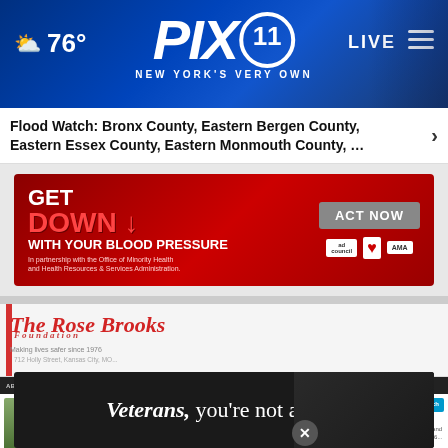[Figure (screenshot): PIX11 news website header with weather showing 76°, PIX11 logo, LIVE button, and hamburger menu on blue gradient background]
Flood Watch: Bronx County, Eastern Bergen County, Eastern Essex County, Eastern Monmouth County, …
[Figure (screenshot): Blood pressure awareness advertisement: GET DOWN WITH YOUR BLOOD PRESSURE - ACT NOW, with ad council, American Heart Association, and AMA logos]
[Figure (screenshot): The Rose Brooks Foundation website screenshot showing navigation bar and article titled In Loving Memory of Carlie Brona (1997-2008)]
[Figure (screenshot): Bottom advertisement: Veterans, you're not alone, with dark background and person image on right]